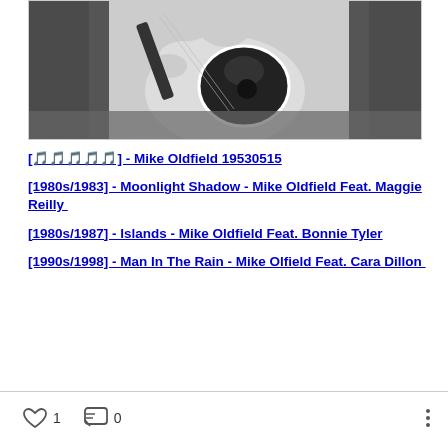[Figure (photo): Black and white photo of a guitarist playing an electric guitar on stage]
[🎵🎵🎵🎵🎵] - Mike Oldfield 19530515
[1980s/1983] - Moonlight Shadow - Mike Oldfield Feat. Maggie Reilly
[1980s/1987] - Islands - Mike Oldfield Feat. Bonnie Tyler
[1990s/1998] - Man In The Rain - Mike Olfield Feat. Cara Dillon
1 likes · 0 comments